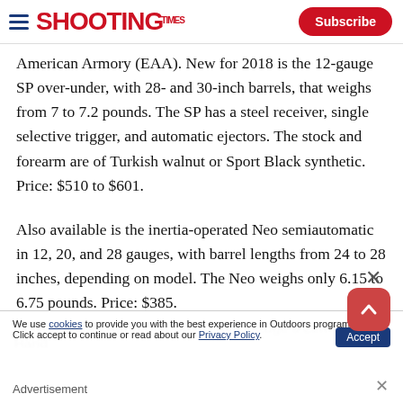SHOOTING TIMES — Subscribe
American Armory (EAA). New for 2018 is the 12-gauge SP over-under, with 28- and 30-inch barrels, that weighs from 7 to 7.2 pounds. The SP has a steel receiver, single selective trigger, and automatic ejectors. The stock and forearm are of Turkish walnut or Sport Black synthetic. Price: $510 to $601.
Also available is the inertia-operated Neo semiautomatic in 12, 20, and 28 gauges, with barrel lengths from 24 to 28 inches, depending on model. The Neo weighs only 6.15 to 6.75 pounds. Price: $385.
We use cookies to provide you with the best experience in Outdoors programming. Click accept to continue or read about our Privacy Policy.
Benelli inertia Sport and Super Black Eagle 3 Left Hand
Advertisement